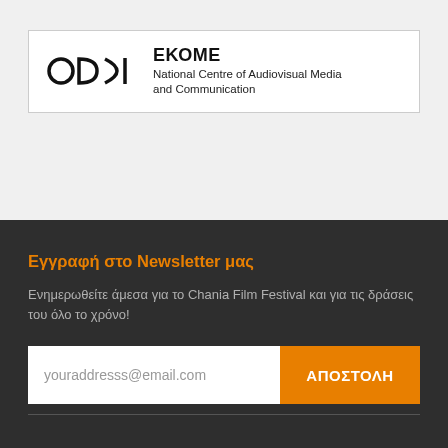[Figure (logo): EKOME logo with stylized OD)I symbol and text: EKOME, National Centre of Audiovisual Media and Communication]
Εγγραφή στο Newsletter μας
Ενημερωθείτε άμεσα για το Chania Film Festival και για τις δράσεις του όλο το χρόνο!
youraddresss@email.com
ΑΠΟΣΤΟΛΗ